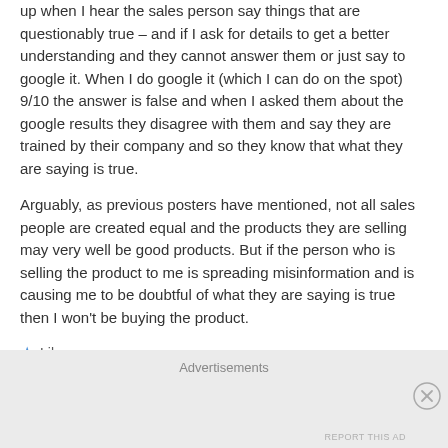up when I hear the sales person say things that are questionably true – and if I ask for details to get a better understanding and they cannot answer them or just say to google it. When I do google it (which I can do on the spot) 9/10 the answer is false and when I asked them about the google results they disagree with them and say they are trained by their company and so they know that what they are saying is true.
Arguably, as previous posters have mentioned, not all sales people are created equal and the products they are selling may very well be good products. But if the person who is selling the product to me is spreading misinformation and is causing me to be doubtful of what they are saying is true then I won't be buying the product.
★ Like
Reply
Advertisements